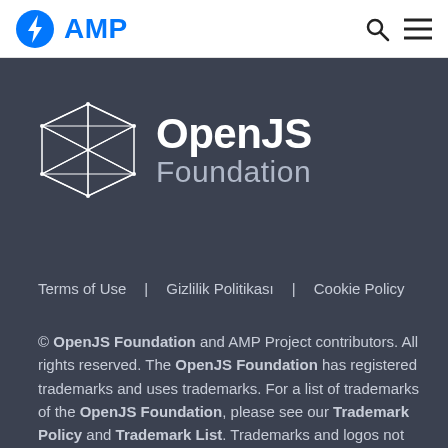[Figure (logo): AMP logo with blue circle containing lightning bolt icon and blue AMP text, plus search and hamburger menu icons on the right]
[Figure (logo): OpenJS Foundation logo: geometric diamond/polyhedron wireframe icon in white, with OpenJS in bold white and Foundation in gray below]
Terms of Use   Gizlilik Politikası   Cookie Policy
© OpenJS Foundation and AMP Project contributors. All rights reserved. The OpenJS Foundation has registered trademarks and uses trademarks. For a list of trademarks of the OpenJS Foundation, please see our Trademark Policy and Trademark List. Trademarks and logos not indicated on the list of OpenJS Foundation trademarks are